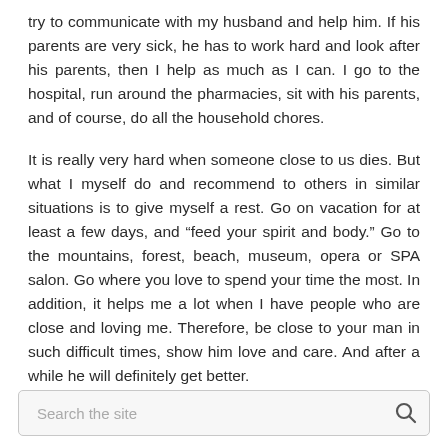try to communicate with my husband and help him. If his parents are very sick, he has to work hard and look after his parents, then I help as much as I can. I go to the hospital, run around the pharmacies, sit with his parents, and of course, do all the household chores.
It is really very hard when someone close to us dies. But what I myself do and recommend to others in similar situations is to give myself a rest. Go on vacation for at least a few days, and “feed your spirit and body.” Go to the mountains, forest, beach, museum, opera or SPA salon. Go where you love to spend your time the most. In addition, it helps me a lot when I have people who are close and loving me. Therefore, be close to your man in such difficult times, show him love and care. And after a while he will definitely get better.